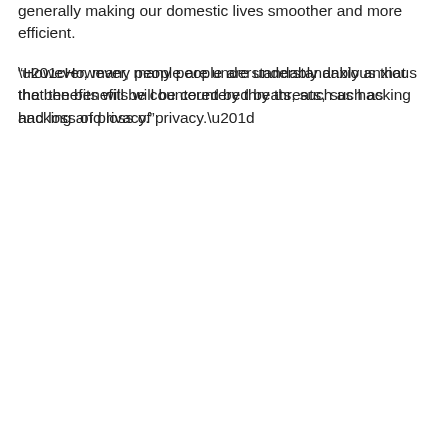generally making our domestic lives smoother and more efficient.
“However, many people are understandably anxious that the benefits will be countered by threats, such as hacking and loss of privacy.”
Plant stressed that it’s “up to the makers of smart devices and applications to reassure consumers that they are not putting themselves at risk”.
“And it’s also vital that any cost savings that flow from adopting connected technology, such as reduced pay-outs for burglary claims, are passed on to customers in the form of lower home insurance premiums,” he added.
Despite public concern, 58 per cent of those surveyed said they would buy a smart device if it helped them save money on their home insurance.
When asked what smart home gadget they would like to